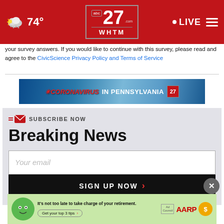74° | abc27 WHTM | LIVE
your survey answers. If you would like to continue with this survey, please read and agree to the CivicScience Privacy Policy and Terms of Service
[Figure (screenshot): CORONAVIRUS IN PENNSYLVANIA banner with abc27 logo on blue icy background]
[Figure (infographic): Subscribe Now Breaking News email signup box with email input field and SIGN UP NOW button]
[Figure (infographic): AARP advertisement: It's not too late to take charge of your retirement. Get your top 3 tips. Ad Council and AARP logos.]